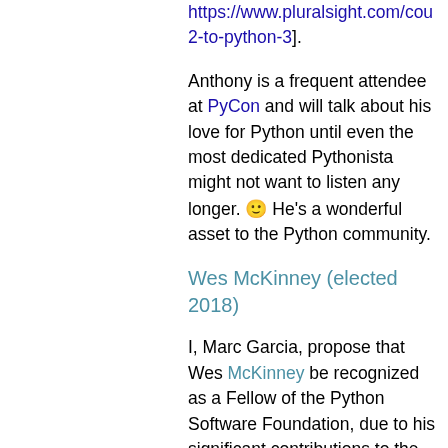https://www.pluralsight.com/cou...2-to-python-3].
Anthony is a frequent attendee at PyCon and will talk about his love for Python until even the most dedicated Pythonista might not want to listen any longer. 🙂 He's a wonderful asset to the Python community.
Wes McKinney (elected 2018)
I, Marc Garcia, propose that Wes McKinney be recognized as a Fellow of the Python Software Foundation, due to his significant contributions to the Python community as